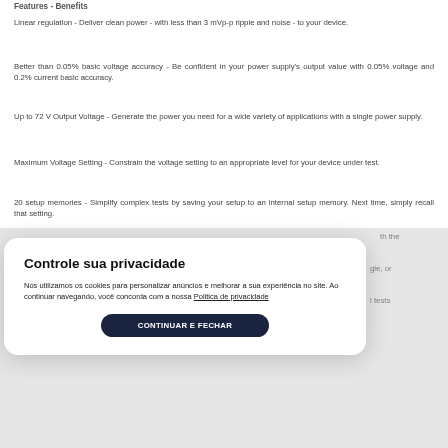Features - Benefits
Linear regulation - Deliver clean power - with less than 3 mVp-p ripple and noise - to your device.
Better than 0.05% basic voltage accuracy - Be confident in your power supply's output value with 0.05% voltage and 0.2% current basic accuracy.
Up to 72 V Output Voltage - Generate the power you need for a wide variety of applications with a single power supply.
Maximum Voltage Setting - Constrain the voltage setting to an appropriate level for your device under test.
20 setup memories - Simplify complex tests by saving your setup to an internal setup memory. Next time, simply recall that setting.
Controle sua privacidade
Nós utilizamos os cookies para personalizar anúncios e melhorar a sua experiência no site. Ao continuar navegando, você concorda com a nossa Politica de privacidade
CONTINUAR E FECHAR